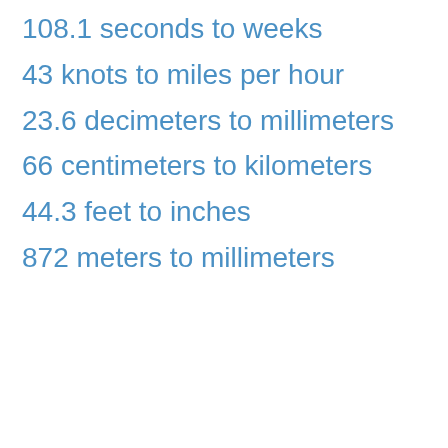108.1 seconds to weeks
43 knots to miles per hour
23.6 decimeters to millimeters
66 centimeters to kilometers
44.3 feet to inches
872 meters to millimeters